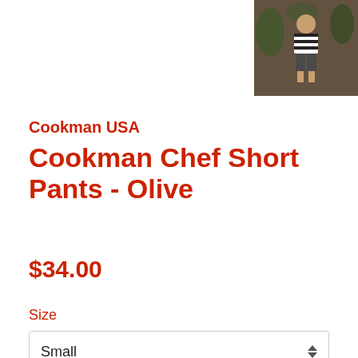[Figure (photo): Thumbnail image of a person wearing the chef short pants, shown in upper right corner against a dark/plant background]
Cookman USA
Cookman Chef Short Pants - Olive
$34.00
Size
Small
Add to Cart